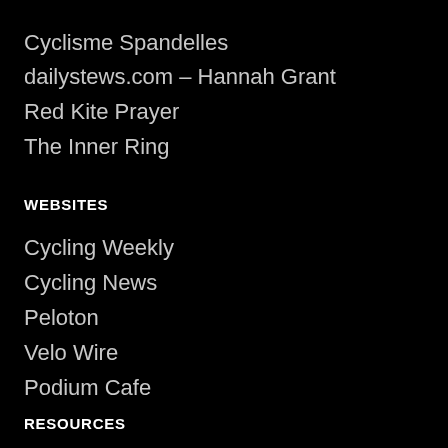Cyclisme Spandelles
dailystews.com – Hannah Grant
Red Kite Prayer
The Inner Ring
WEBSITES
Cycling Weekly
Cycling News
Peloton
Velo Wire
Podium Cafe
RESOURCES